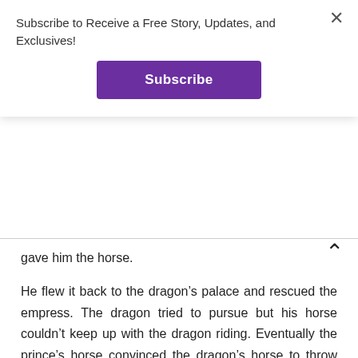Subscribe to Receive a Free Story, Updates, and Exclusives!
Subscribe
gave him the horse.
He flew it back to the dragon’s palace and rescued the empress. The dragon tried to pursue but his horse couldn’t keep up with the dragon riding. Eventually the prince’s horse convinced the dragon’s horse to throw him and join them. It did and the empress rode the dragon’s horse and the two lovers flew back to her palace and lived happily ever after.
The Prompt
Another love story, sort of. I broke it up because it was so